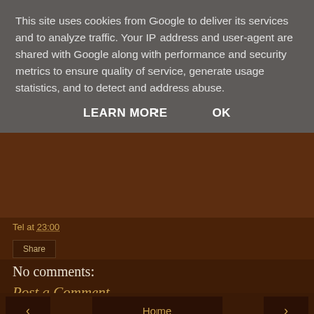This site uses cookies from Google to deliver its services and to analyze traffic. Your IP address and user-agent are shared with Google along with performance and security metrics to ensure quality of service, generate usage statistics, and to detect and address abuse.
LEARN MORE    OK
Tel at 23:00
Share
No comments:
Post a Comment
‹   Home   ›
View web version
Powered by Blogger.